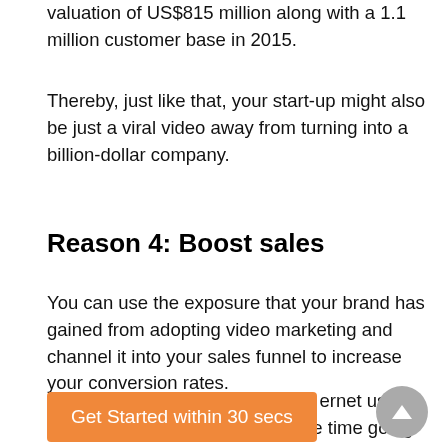valuation of US$815 million along with a 1.1 million customer base in 2015.
Thereby, just like that, your start-up might also be just a viral video away from turning into a billion-dollar company.
Reason 4: Boost sales
You can use the exposure that your brand has gained from adopting video marketing and channel it into your sales funnel to increase your conversion rates.
internet user tends to spend at least 88% more time going through a
[Figure (other): Orange CTA button reading 'Get Started within 30 secs']
[Figure (other): Grey circular scroll-to-top button with upward triangle arrow]